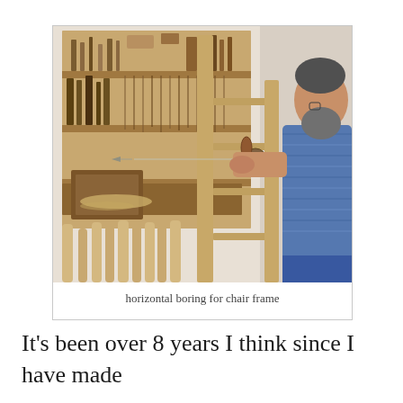[Figure (photo): A bearded man in a blue striped shirt using a hand brace drill to bore a hole horizontally into a wooden chair frame. The workshop background has shelves full of woodworking tools, chisels, and wooden chair parts.]
horizontal boring for chair frame
It's been over 8 years I think since I have made